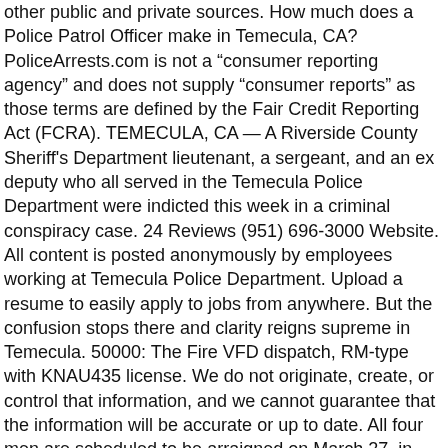other public and private sources. How much does a Police Patrol Officer make in Temecula, CA? PoliceArrests.com is not a “consumer reporting agency” and does not supply “consumer reports” as those terms are defined by the Fair Credit Reporting Act (FCRA). TEMECULA, CA — A Riverside County Sheriff's Department lieutenant, a sergeant, and an ex deputy who all served in the Temecula Police Department were indicted this week in a criminal conspiracy case. 24 Reviews (951) 696-3000 Website. All content is posted anonymously by employees working at Temecula Police Department. Upload a resume to easily apply to jobs from anywhere. But the confusion stops there and clarity reigns supreme in Temecula. 50000: The Fire VFD dispatch, RM-type with KNAU435 license. We do not originate, create, or control that information, and we cannot guarantee that the information will be accurate or up to date. All four men are scheduled to be arraigned on March 27, in Department 61 at the Hall of Justice in Riverside.